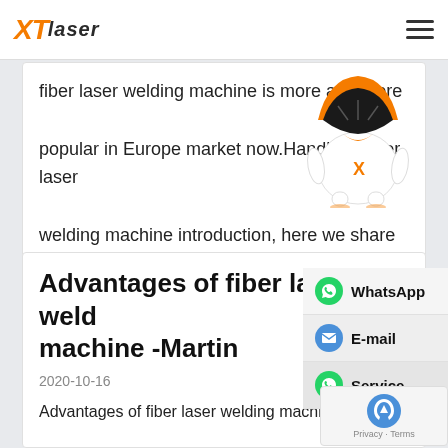XTLaser
fiber laser welding machine is more and more popular in Europe market now.Handheld fiber laser welding machine introduction, here we share [...
READ MORE
[Figure (illustration): Robot mascot wearing orange helmet with X logo]
Advantages of fiber laser welding machine -Martin
2020-10-16
Advantages of fiber laser welding machine -Martin Advantages of fiber laser welding machine -Martin Fiber laser technology is better than traditional h optical path. What are [...]